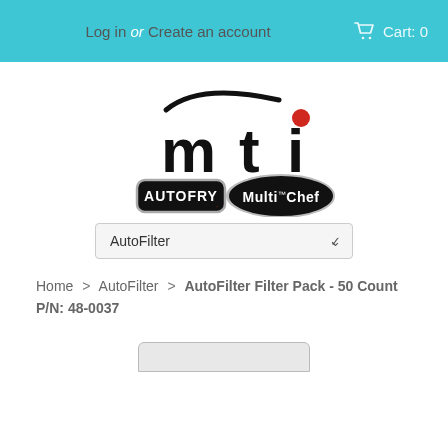Log in or Create an account  Cart: 0
[Figure (logo): MTI logo with AUTOFRY and MultiChef sub-brand logos]
AutoFilter (dropdown)
Home > AutoFilter > AutoFilter Filter Pack - 50 Count P/N: 48-0037
[Figure (other): Partial product image at the bottom]